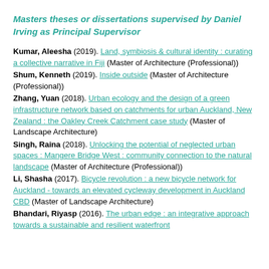Masters theses or dissertations supervised by Daniel Irving as Principal Supervisor
Kumar, Aleesha (2019). Land, symbiosis & cultural identity : curating a collective narrative in Fiji (Master of Architecture (Professional))
Shum, Kenneth (2019). Inside outside (Master of Architecture (Professional))
Zhang, Yuan (2018). Urban ecology and the design of a green infrastructure network based on catchments for urban Auckland, New Zealand : the Oakley Creek Catchment case study (Master of Landscape Architecture)
Singh, Raina (2018). Unlocking the potential of neglected urban spaces : Mangere Bridge West : community connection to the natural landscape (Master of Architecture (Professional))
Li, Shasha (2017). Bicycle revolution : a new bicycle network for Auckland - towards an elevated cycleway development in Auckland CBD (Master of Landscape Architecture)
Bhandari, Riyasp (2016). The urban edge : an integrative approach towards a sustainable and resilient waterfront